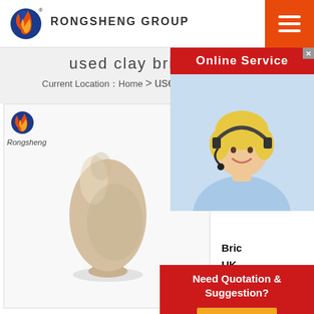[Figure (logo): Rongsheng Group logo: stylized globe with flame and registered trademark symbol, with text RONGSHENG GROUP]
[Figure (illustration): Online Service popup showing a blonde woman wearing a headset, smiling, with red 'Online Service' header bar]
used clay brick for sa
Current Location：Home > used clay b
[Figure (photo): Product photo of a small rounded vase-shaped clay material or refractory material sample on white background, inside a bordered product card with Rongsheng logo]
Bric
UK
Bric
Diamond Blue Brick Pavers large 12 x 6 2 london mixture
[Figure (infographic): Red popup box with text 'Need Quotation & Suggestion?' and orange 'Free Chat' button]
Get Price